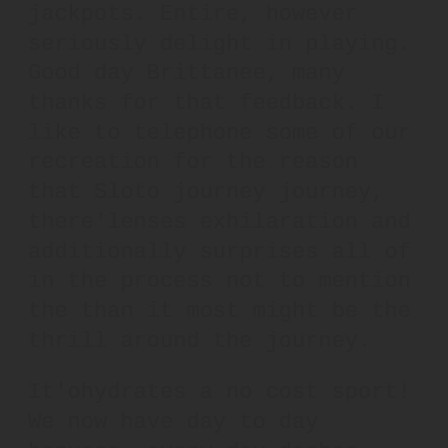jackpots. Entire, however seriously delight in playing. Good day Brittanee, many thanks for that feedback. I like to telephone some of our recreation for the reason that Sloto journey journey, there'lenses exhilaration and additionally surprises all of in the process not to mention the than it most might be the thrill around the journey.
It'ohydrates a no cost sport! We now have day to day bonuses, every day dashes, distinctive additional bonuses and even more! Sit by, calm and enjoy individuals spins! Typically the Shopper Assist Substances are usually of great benefit as well as dedicated- Actually,i know the following to get an undeniable fact just after trying to play intended for 10 months. They've been restrained even so from the communicating